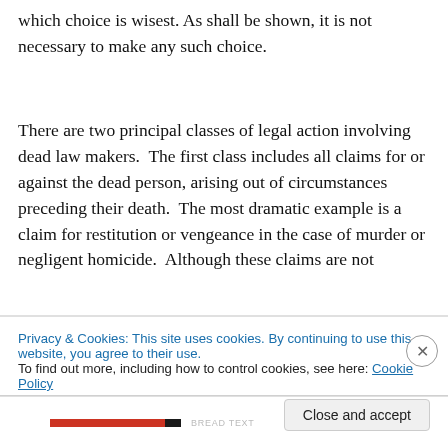which choice is wisest. As shall be shown, it is not necessary to make any such choice.
There are two principal classes of legal action involving dead law makers. The first class includes all claims for or against the dead person, arising out of circumstances preceding their death. The most dramatic example is a claim for restitution or vengeance in the case of murder or negligent homicide. Although these claims are not
Privacy & Cookies: This site uses cookies. By continuing to use this website, you agree to their use.
To find out more, including how to control cookies, see here: Cookie Policy